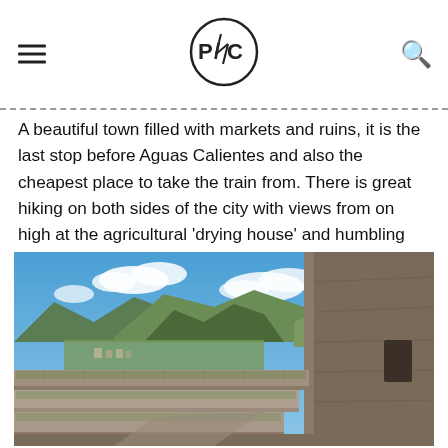P/C logo with hamburger menu and search icon
A beautiful town filled with markets and ruins, it is the last stop before Aguas Calientes and also the cheapest place to take the train from. There is great hiking on both sides of the city with views from on high at the agricultural 'drying house' and humbling stonework all through the emperor's ruins.
[Figure (photo): Photograph of ancient Incan stone ruins with terraced walls in the foreground, a small town visible in the valley below, and green mountains rising under a blue sky with white clouds.]